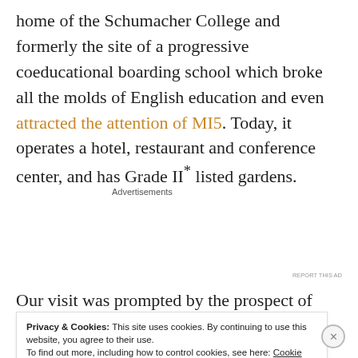home of the Schumacher College and formerly the site of a progressive coeducational boarding school which broke all the molds of English education and even attracted the attention of MI5. Today, it operates a hotel, restaurant and conference center, and has Grade II* listed gardens.
Advertisements
[Figure (infographic): Advertisement banner for Day One journal app. Blue background with phone image on left, text 'Your Journal for life' in white, and Day One logo/icon on right.]
Our visit was prompted by the prospect of staying
Privacy & Cookies: This site uses cookies. By continuing to use this website, you agree to their use.
To find out more, including how to control cookies, see here: Cookie Policy
Close and accept